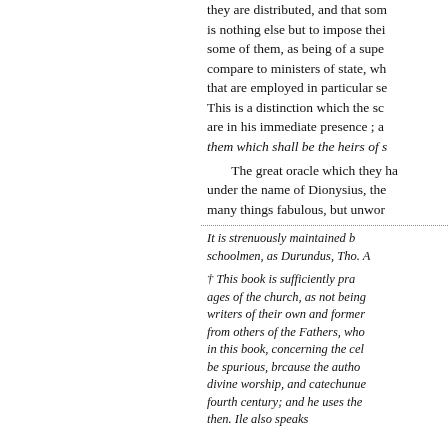they are distributed, and that som is nothing else but to impose thei some of them, as being of a supe compare to ministers of state, wh that are employed in particular se This is a distinction which the sc are in his immediate presence ; a them which shall be the heirs of s
The great oracle which they ha under the name of Dionysius, the many things fabulous, but unwor
It is strenuously maintained b schoolmen, as Durundus, Tho. A
† This book is sufficiently pro ages of the church, as not being writers of their own and former from others of the Fathers, who in this book, concerning the cel be spurious, brcause the autho divine worship, and catechunue fourth century; and he uses the then. Ile also speaks